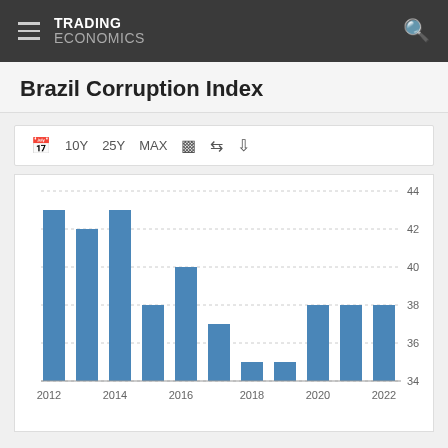TRADING ECONOMICS
Brazil Corruption Index
[Figure (bar-chart): Brazil Corruption Index]